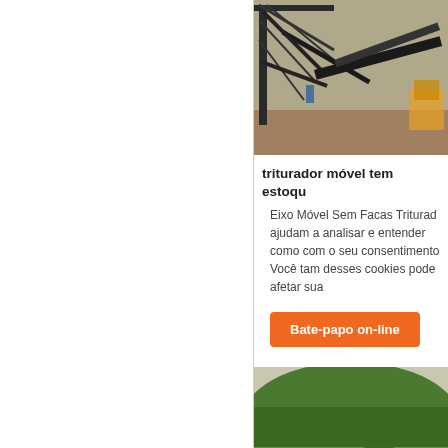[Figure (photo): Industrial mining conveyor and crane structure with yellow machinery in background]
triturador móvel tem estoqu
Eixo Móvel Sem Facas Triturado ajudam a analisar e entender como com o seu consentimento Você tam desses cookies pode afetar sua
Bate-papo on-line
[Figure (photo): Open pit mining site with green hillside, earthworks, rusty conveyor structures, yellow crusher and blue truck]